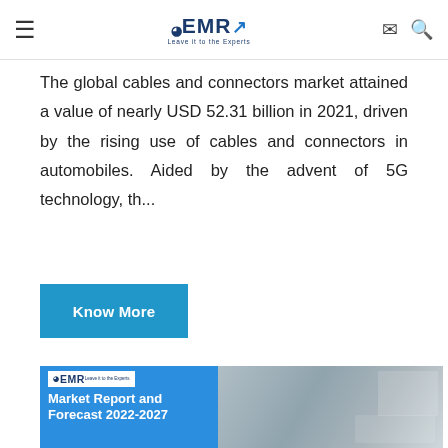EMR — Leave it to the Experts (navigation header with hamburger menu, logo, mail and search icons)
The global cables and connectors market attained a value of nearly USD 52.31 billion in 2021, driven by the rising use of cables and connectors in automobiles. Aided by the advent of 5G technology, th...
Know More
[Figure (illustration): EMR Market Report and Forecast 2022-2027 card image showing EMR logo on blue background on left, and product/lab images on right]